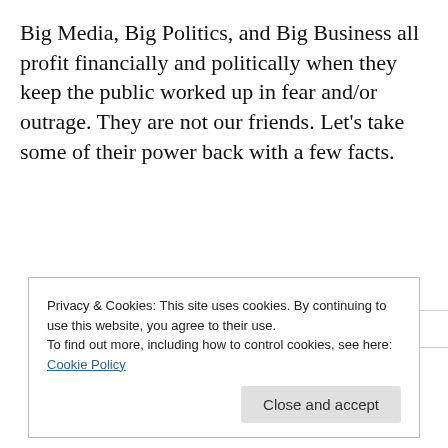Big Media, Big Politics, and Big Business all profit financially and politically when they keep the public worked up in fear and/or outrage. They are not our friends. Let's take some of their power back with a few facts.
[Figure (other): Broken image placeholder — a small image icon with a border box indicating a missing or unloaded image]
Privacy & Cookies: This site uses cookies. By continuing to use this website, you agree to their use.
To find out more, including how to control cookies, see here: Cookie Policy